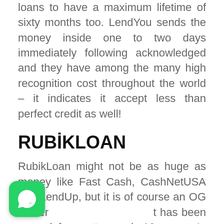loans to have a maximum lifetime of sixty months too. LendYou sends the money inside one to two days immediately following acknowledged and they have among the many high recognition cost throughout the world – it indicates it accept less than perfect credit as well!
RUBİKLOAN
RubikLoan might not be as huge as money like Fast Cash, CashNetUSA and LendUp, but it is of course an OG lender that has been around for pretty much 10 years. In the payday loan business – that
[Figure (logo): WhatsApp icon — green rounded square with white phone handset logo]